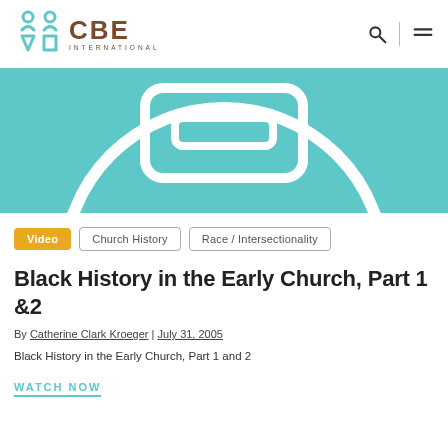CBE International
[Figure (illustration): Teal/turquoise hero image showing abstract circular and rectangular shapes in white outline on a teal background, resembling a stylized person or figure]
Video
Church History
Race / Intersectionality
Black History in the Early Church, Part 1 &2
By Catherine Clark Kroeger | July 31, 2005
Black History in the Early Church, Part 1 and 2
WATCH NOW